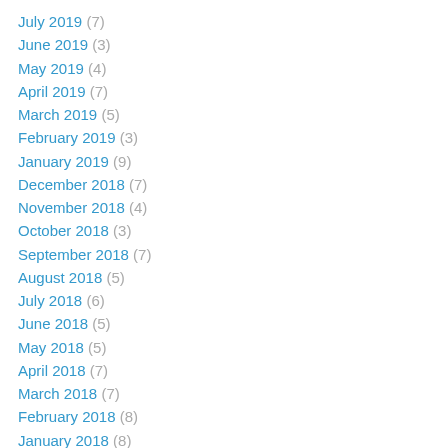July 2019 (7)
June 2019 (3)
May 2019 (4)
April 2019 (7)
March 2019 (5)
February 2019 (3)
January 2019 (9)
December 2018 (7)
November 2018 (4)
October 2018 (3)
September 2018 (7)
August 2018 (5)
July 2018 (6)
June 2018 (5)
May 2018 (5)
April 2018 (7)
March 2018 (7)
February 2018 (8)
January 2018 (8)
December 2017 (4)